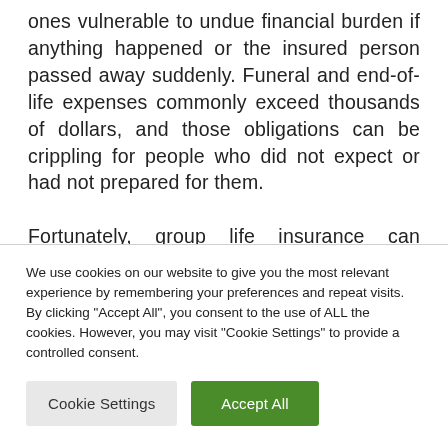ones vulnerable to undue financial burden if anything happened or the insured person passed away suddenly. Funeral and end-of-life expenses commonly exceed thousands of dollars, and those obligations can be crippling for people who did not expect or had not prepared for them. Fortunately, group life insurance can provide the coverage individuals, and their families need to rest easy knowing help is available should the
We use cookies on our website to give you the most relevant experience by remembering your preferences and repeat visits. By clicking "Accept All", you consent to the use of ALL the cookies. However, you may visit "Cookie Settings" to provide a controlled consent.